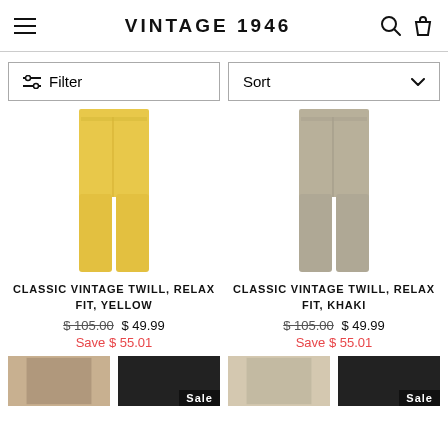VINTAGE 1946
Filter
Sort
CLASSIC VINTAGE TWILL, RELAX FIT, YELLOW
$105.00  $49.99  Save $55.01
CLASSIC VINTAGE TWILL, RELAX FIT, KHAKI
$105.00  $49.99  Save $55.01